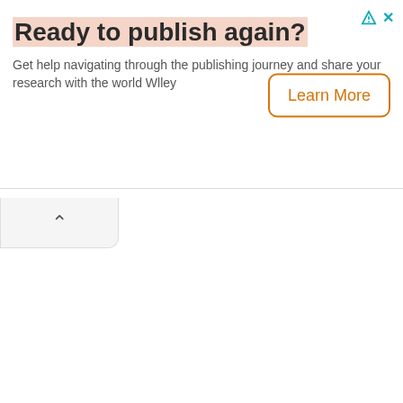Ready to publish again?
Get help navigating through the publishing journey and share your research with the world Wlley
[Figure (other): Learn More button — orange border rounded rectangle with orange text 'Learn More']
[Figure (other): Collapse/chevron button — up arrow caret in a light gray rounded tab shape]